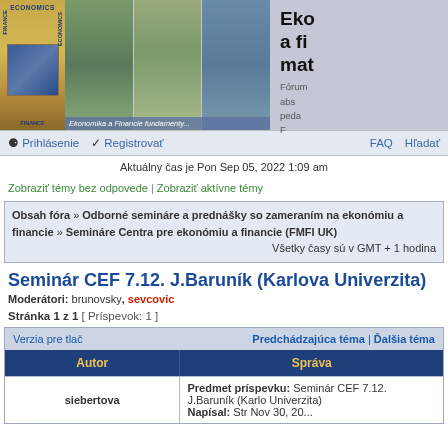[Figure (photo): Website header banner with Economics/Finance logos and photos of buildings and outdoors scenes, with text overlay]
Ekonómia a financie – materiály (partial, cut off)
Fórum absolventov a pedagógov... F...
Prihlásenie   Registrovať   FAQ   Hľadať
Aktuálny čas je Pon Sep 05, 2022 1:09 am
Zobraziť témy bez odpovede | Zobraziť aktívne témy
Obsah fóra » Odborné semináre a prednášky so zameraním na ekonómiu a financie » Semináre Centra pre ekonómiu a financie (FMFI UK)
Všetky časy sú v GMT + 1 hodina
Seminár CEF 7.12. J.Baruník (Karlova Univerzita)
Moderátori: brunovsky, sevcovic
Stránka 1 z 1  [ Príspevok: 1 ]
| Verzia pre tlač | Predchádzajúca téma | Ďalšia téma |
| --- | --- |
| Autor | Správa |
| siebertova | Predmet príspevku: Seminár CEF 7.12. J.Baruník (Karlova Univerzita)
Napísal: Str Nov 30, 20... |